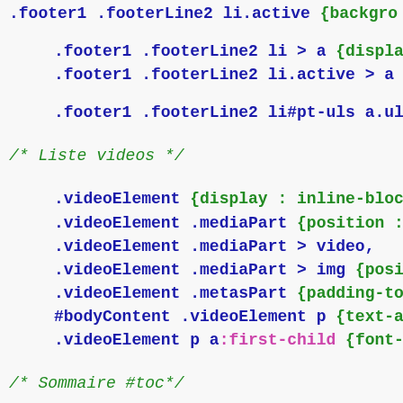.footer1 .footerLine2 li.active {backgro
.footer1 .footerLine2 li > a {display :
.footer1 .footerLine2 li.active > a {ba
.footer1 .footerLine2 li#pt-uls a.uls-tr
/* Liste videos */
.videoElement {display : inline-block; v
.videoElement .mediaPart {position : rel
.videoElement .mediaPart > video,
.videoElement .mediaPart > img {position
.videoElement .metasPart {padding-top :
#bodyContent .videoElement p {text-align
.videoElement p a:first-child {font-size
/* Sommaire #toc*/